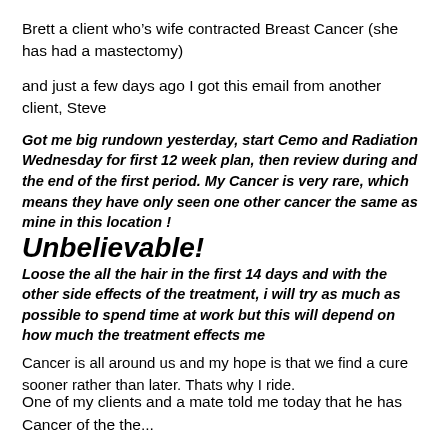Brett a client who’s wife contracted Breast Cancer (she has had a mastectomy)
and just a few days ago I got this email from another client, Steve
Got me big rundown yesterday, start Cemo and Radiation Wednesday for first 12 week plan, then review during and the end of the first period. My Cancer is very rare, which means they have only seen one other cancer the same as mine in this location ! Unbelievable! Loose the all the hair in the first 14 days and with the other side effects of the treatment, i will try as much as possible to spend time at work but this will depend on how much the treatment effects me
Cancer is all around us and my hope is that we find a cure sooner rather than later. Thats why I ride.
One of my clients and a mate told me today that he has Cancer of the the...